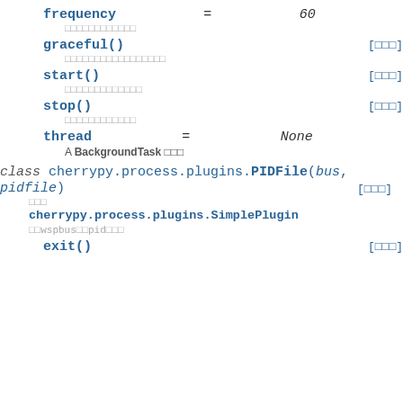frequency = 60
□□□□□□□□□□□□
graceful() [□□□]
□□□□□□□□□□□□□□□□□
start() [□□□]
□□□□□□□□□□□□□
stop() [□□□]
□□□□□□□□□□□□
thread = None
A BackgroundTask □□□
class cherrypy.process.plugins.PIDFile(bus, pidfile) [□□□]
□□□
cherrypy.process.plugins.SimplePlugin
□□wspbus□□pid□□□
exit() [□□□]